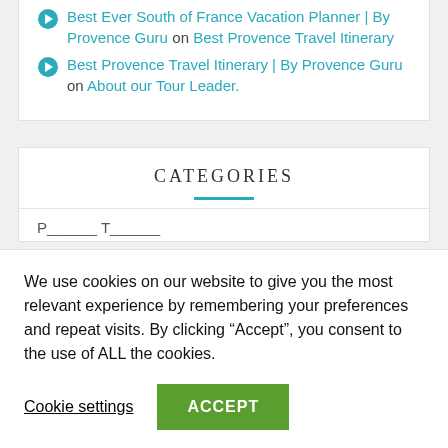Best Ever South of France Vacation Planner | By Provence Guru on Best Provence Travel Itinerary
Best Provence Travel Itinerary | By Provence Guru on About our Tour Leader.
CATEGORIES
We use cookies on our website to give you the most relevant experience by remembering your preferences and repeat visits. By clicking “Accept”, you consent to the use of ALL the cookies.
Cookie settings
ACCEPT